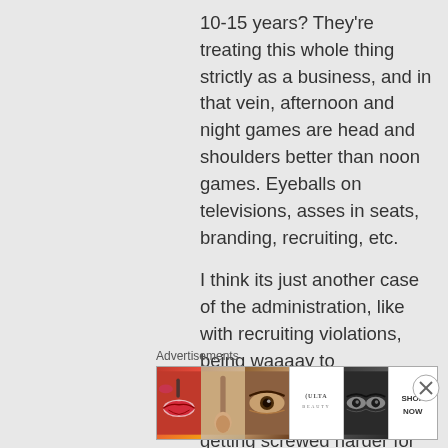10-15 years? They're treating this whole thing strictly as a business, and in that vein, afternoon and night games are head and shoulders better than noon games. Eyeballs on televisions, asses in seats, branding, recruiting, etc.
I think its just another case of the administration, like with recruiting violations, being waaaay to accommodating to “the powers that be”, and only getting screwed harder for it. But really not caring as long as the check clears.
Advertisements
[Figure (other): Ulta beauty advertisement banner with makeup images: lips with red lipstick, makeup brush, eye with eyeshadow, Ulta logo, eyes with dark makeup, and SHOP NOW button]